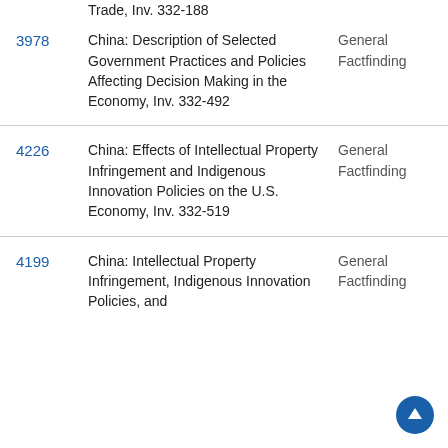Trade, Inv. 332-188
| ID | Title | Type |
| --- | --- | --- |
| 3978 | China: Description of Selected Government Practices and Policies Affecting Decision Making in the Economy, Inv. 332-492 | General Factfinding |
| 4226 | China: Effects of Intellectual Property Infringement and Indigenous Innovation Policies on the U.S. Economy, Inv. 332-519 | General Factfinding |
| 4199 | China: Intellectual Property Infringement, Indigenous Innovation Policies, and | General Factfinding |